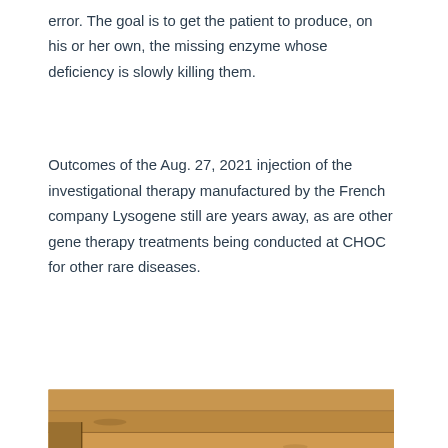error. The goal is to get the patient to produce, on his or her own, the missing enzyme whose deficiency is slowly killing them.
Outcomes of the Aug. 27, 2021 injection of the investigational therapy manufactured by the French company Lysogene still are years away, as are other gene therapy treatments being conducted at CHOC for other rare diseases.
[Figure (photo): Partial photograph showing the top of a child's head with a decorative headband/crown, in front of a wooden plank background with what appears to be a party or celebration setting.]